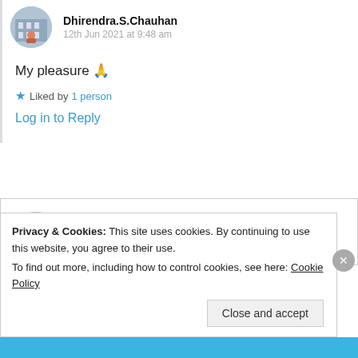Dhirendra.S.Chauhan
12th Jun 2021 at 9:48 am
My pleasure 🙏
★ Liked by 1 person
Log in to Reply
Rabia Akram
12th Jun 2021 at 11:45 pm
Privacy & Cookies: This site uses cookies. By continuing to use this website, you agree to their use.
To find out more, including how to control cookies, see here: Cookie Policy
Close and accept